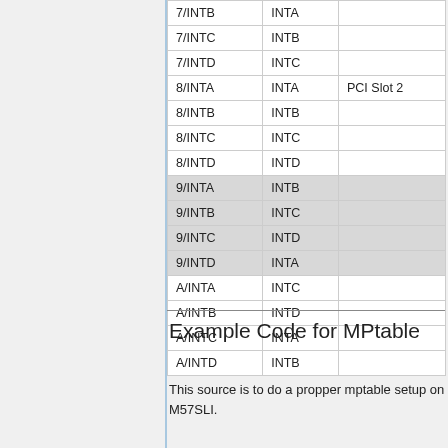|  |  |  |
| --- | --- | --- |
| 7/INTB | INTA |  |
| 7/INTC | INTB |  |
| 7/INTD | INTC |  |
| 8/INTA | INTA | PCI Slot 2 |
| 8/INTB | INTB |  |
| 8/INTC | INTC |  |
| 8/INTD | INTD |  |
| 9/INTA | INTB |  |
| 9/INTB | INTC |  |
| 9/INTC | INTD |  |
| 9/INTD | INTA |  |
| A/INTA | INTC |  |
| A/INTB | INTD |  |
| A/INTC | INTA |  |
| A/INTD | INTB |  |
Example Code for MPtable
This source is to do a propper mptable setup on M57SLI.